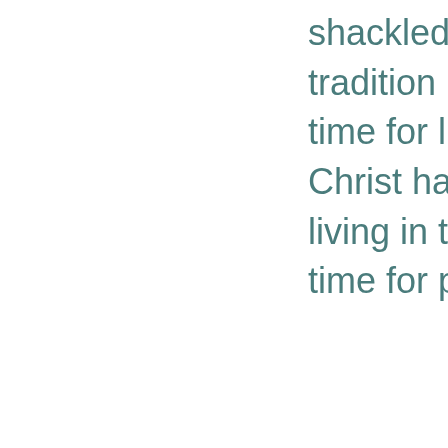shackled by the chains of tradition long enough. It's time for light. The body of Christ has had enough of living in the shadows. It's time for pure light!
Dr. G. Campbell Morgan, a well-known Bible teacher, hailed as “the prince of expositors” wrote in his book “God’s Method’s With Men” on pages 185, 6, “Let me say to